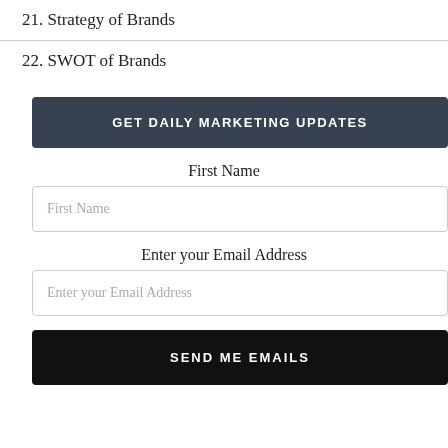21. Strategy of Brands
22. SWOT of Brands
GET DAILY MARKETING UPDATES
First Name
First Name
Enter your Email Address
Enter your Email Address
SEND ME EMAILS